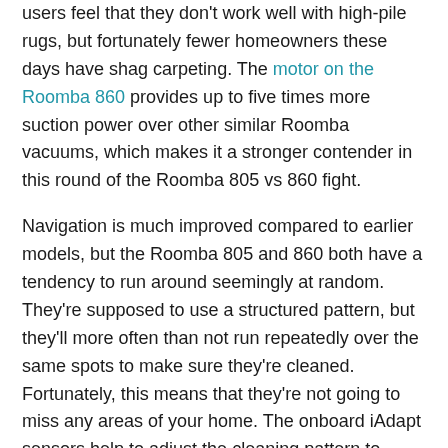users feel that they don't work well with high-pile rugs, but fortunately fewer homeowners these days have shag carpeting. The motor on the Roomba 860 provides up to five times more suction power over other similar Roomba vacuums, which makes it a stronger contender in this round of the Roomba 805 vs 860 fight.
Navigation is much improved compared to earlier models, but the Roomba 805 and 860 both have a tendency to run around seemingly at random. They're supposed to use a structured pattern, but they'll more often than not run repeatedly over the same spots to make sure they're cleaned. Fortunately, this means that they're not going to miss any areas of your home. The onboard iAdapt sensors help to adjust the cleaning pattern to different surfaces.